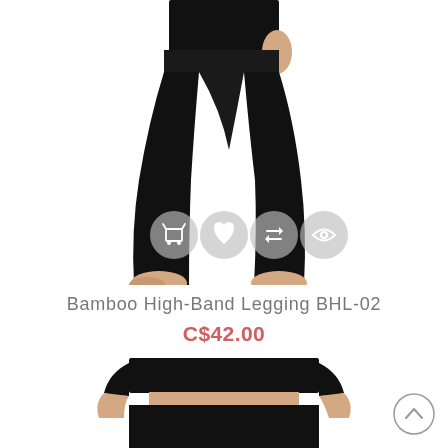[Figure (photo): Woman wearing black bamboo high-band leggings, full length shot showing torso and legs on white background, with semi-transparent action icon buttons (cart, heart, compare, eye) overlaid near bottom of image]
Bamboo High-Band Legging BHL-02
C$42.00
[Figure (photo): Woman wearing black high-waist sports crop top and high-waist leggings showing midriff cutout, partial view from waist down]
[Figure (other): Scroll-to-top circular button with upward chevron arrow]